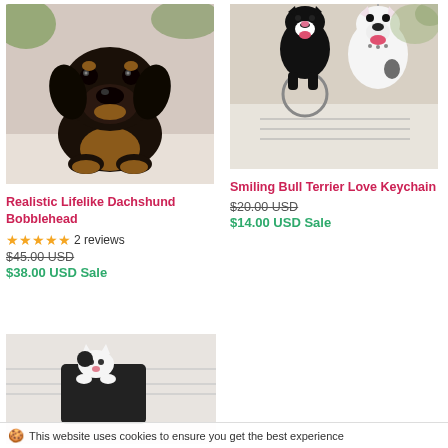[Figure (photo): Realistic lifelike dachshund bobblehead figurine, black and tan, sitting pose on white background]
[Figure (photo): Smiling Bull Terrier keychains, white and black dog figures with metal ring, on paper background]
Realistic Lifelike Dachshund Bobblehead
★★★★★ 2 reviews
$45.00 USD
$38.00 USD Sale
Smiling Bull Terrier Love Keychain
$20.00 USD
$14.00 USD Sale
[Figure (photo): Partial view of a cat-themed phone stand or holder product, partially visible at bottom]
This website uses cookies to ensure you get the best experience